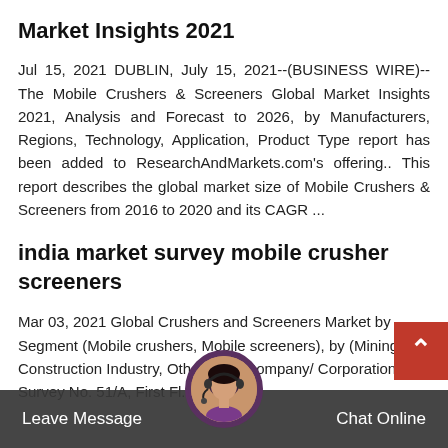Market Insights 2021
Jul 15, 2021 DUBLIN, July 15, 2021--(BUSINESS WIRE)-- The Mobile Crushers & Screeners Global Market Insights 2021, Analysis and Forecast to 2026, by Manufacturers, Regions, Technology, Application, Product Type report has been added to ResearchAndMarkets.com's offering.. This report describes the global market size of Mobile Crushers & Screeners from 2016 to 2020 and its CAGR ...
india market survey mobile crusher screeners
Mar 03, 2021 Global Crushers and Screeners Market by Segment (Mobile crushers, Mobile screeners), by (Mining, Construction Industry, Others), by Company/ Corporation ...) Survey No. 51/A, First Fl...
[Figure (other): Chat widget overlay at bottom of page with 'Leave Message' text on left, customer support avatar in center, and 'Chat Online' text on right, plus a red back-to-top button with chevron arrow.]